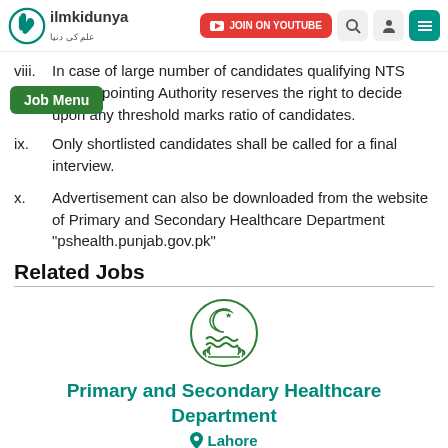ilmkidunya | JOIN ON YOUTUBE
viii. In case of large number of candidates qualifying NTS test, Appointing Authority reserves the right to decide upon any threshold marks ratio of candidates.
ix. Only shortlisted candidates shall be called for a final interview.
x. Advertisement can also be downloaded from the website of Primary and Secondary Healthcare Department "pshealth.punjab.gov.pk"
Related Jobs
[Figure (logo): Punjab Government logo - circular emblem with crescent, star and waves]
Primary and Secondary Healthcare Department
Lahore